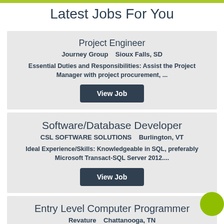Latest Jobs For You
Project Engineer
Journey Group    Sioux Falls, SD
Essential Duties and Responsibilities: Assist the Project Manager with project procurement, ...
View Job
Software/Database Developer
CSL SOFTWARE SOLUTIONS     Burlington, VT
Ideal Experience/Skills: Knowledgeable in SQL, preferably Microsoft Transact-SQL Server 2012....
View Job
Entry Level Computer Programmer
Revature    Chattanooga, TN